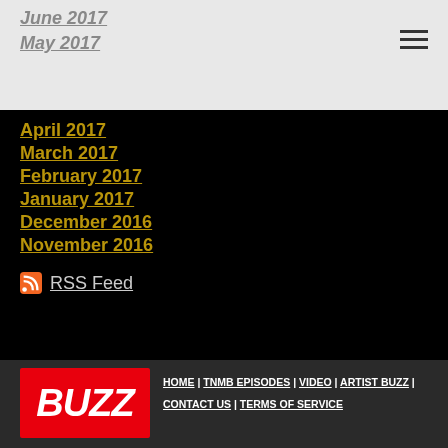June 2017
May 2017
April 2017
March 2017
February 2017
January 2017
December 2016
November 2016
RSS Feed
[Figure (logo): BUZZ logo in white italic bold text on red background]
HOME | TNMB EPISODES | VIDEO | ARTIST BUZZ | CONTACT US | TERMS OF SERVICE